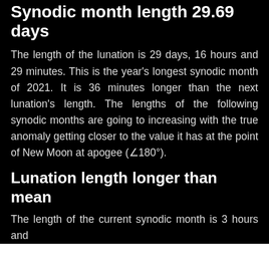Synodic month length 29.69 days
The length of the lunation is 29 days, 16 hours and 29 minutes. This is the year's longest synodic month of 2021. It is 36 minutes longer than the next lunation's length. The lengths of the following synodic months are going to increasing with the true anomaly getting closer to the value it has at the point of New Moon at apogee (∠180°).
Lunation length longer than mean
The length of the current synodic month is 3 hours and